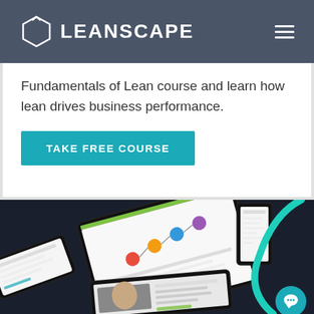LEANSCAPE
Fundamentals of Lean course and learn how lean drives business performance.
TAKE FREE COURSE
[Figure (screenshot): Dark background product screenshot showing multiple device mockups (tablets and phones) displaying the Leanscape e-learning platform interface with course content and a person's face visible on one device. A teal diagonal curved line decorates the upper right corner. A teal chat bubble icon is in the lower right.]